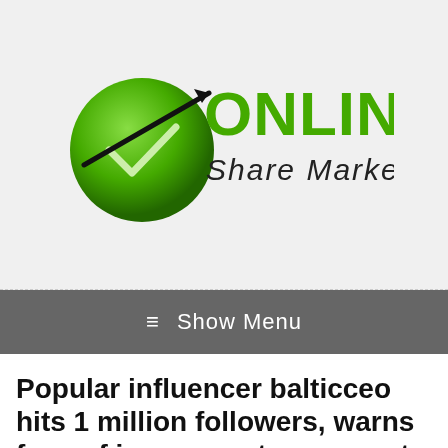[Figure (logo): Online Share Market News logo with green circle containing a checkmark and an upward black arrow, with 'ONLINE' in bold green text and 'Share Market News' in smaller dark text below]
≡ Show Menu
Popular influencer balticceo hits 1 million followers, warns fans of impersonator accounts